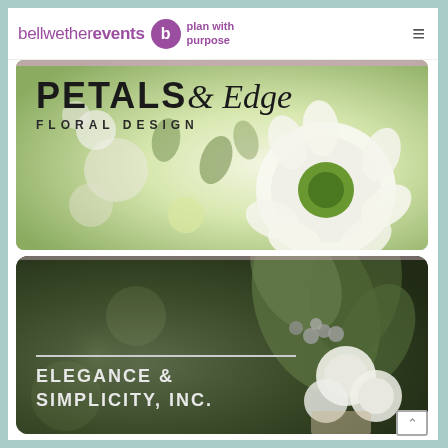bellwether events — plan with purpose
[Figure (photo): Petals Edge Floral Design logo over close-up photo of white and green flowers/bouquet]
[Figure (photo): Elegance & Simplicity, Inc. logo over photo of rustic green and white floral bouquet held by bride]